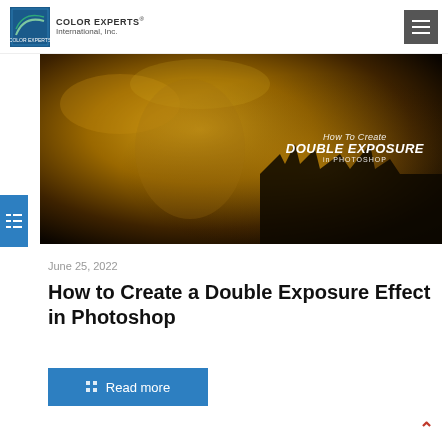[Figure (logo): Color Experts International, Inc. logo with text]
[Figure (photo): Golden-toned double exposure photo of a woman and a castle silhouette with text overlay: How To Create DOUBLE EXPOSURE in PHOTOSHOP]
June 25, 2022
How to Create a Double Exposure Effect in Photoshop
Read more